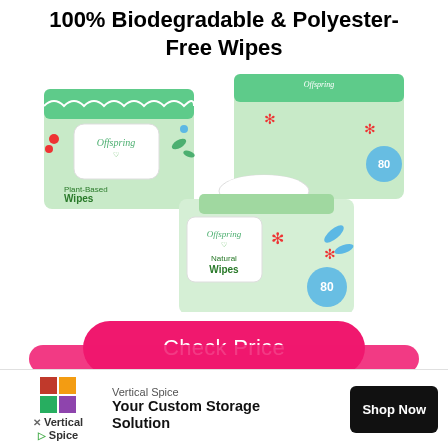100% Biodegradable & Polyester-Free Wipes
[Figure (photo): Three packages of Offspring branded baby wipes with green floral packaging and red star accents, shown stacked together. The packages are labeled 'Offspring' and 'Wipes' with '80' count indicators.]
Check Price
[Figure (other): Partial pink/magenta rounded button at bottom, partially cut off]
Vertical Spice
Your Custom Storage Solution
Shop Now